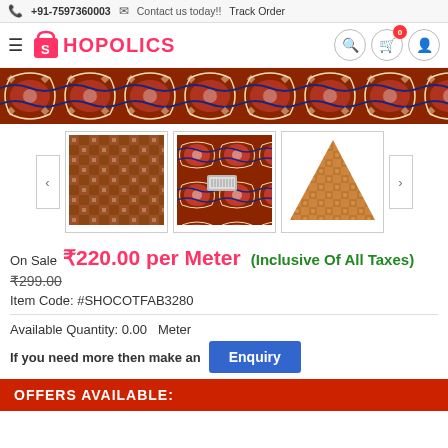+91-7597360003   Contact us today!!   Track Order
[Figure (logo): Shopolics logo with shopping bag icon and hamburger menu]
[Figure (photo): Main product image showing colorful patterned fabric/rug with red, blue, black and cream floral/geometric design]
[Figure (photo): Three thumbnail images of the product fabric showing different views: close-up weave texture, floral pattern with tag, and corner triangle view]
On Sale ₹220.00 per Meter (Inclusive Of All Taxes)
₹299.00
Item Code: #SHOCOTFAB3280
Available Quantity: 0.00   Meter
If you need more then make an Enquiry
OFFERS AVAILABLE: